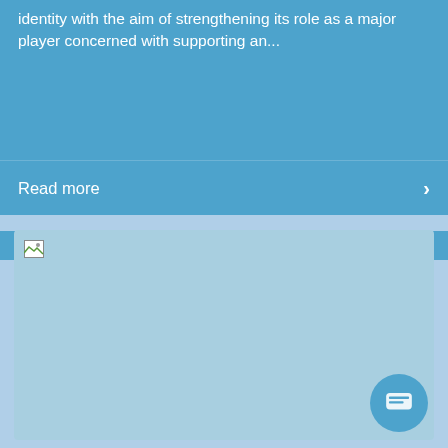identity with the aim of strengthening its role as a major player concerned with supporting an...
Read more
[Figure (screenshot): A light blue card/panel with a broken image icon in the top-left corner and a chat bubble button in the bottom-right corner.]